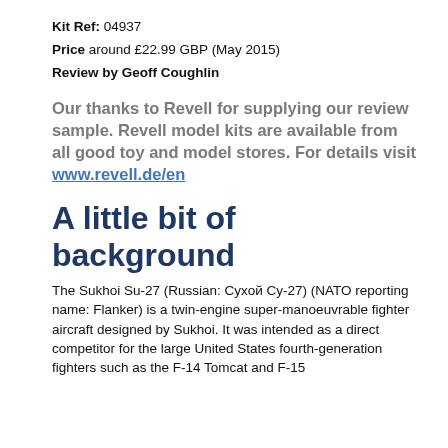Kit Ref: 04937
Price around £22.99 GBP (May 2015)
Review by Geoff Coughlin
Our thanks to Revell for supplying our review sample. Revell model kits are available from all good toy and model stores. For details visit www.revell.de/en
A little bit of background
The Sukhoi Su-27 (Russian: Сухой Су-27) (NATO reporting name: Flanker) is a twin-engine super-manoeuvrable fighter aircraft designed by Sukhoi. It was intended as a direct competitor for the large United States fourth-generation fighters such as the F-14 Tomcat and F-15